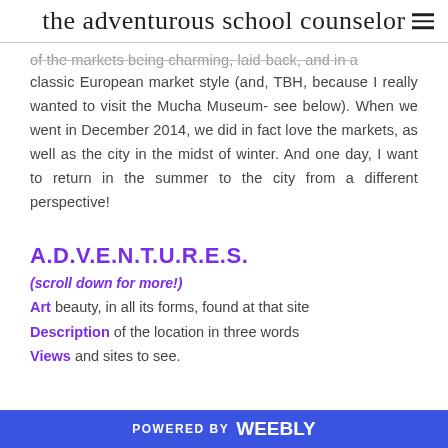the adventurous school counselor
of the markets being charming, laid-back, and in a classic European market style (and, TBH, because I really wanted to visit the Mucha Museum- see below). When we went in December 2014, we did in fact love the markets, as well as the city in the midst of winter. And one day, I want to return in the summer to the city from a different perspective!
A.D.V.E.N.T.U.R.E.S.
(scroll down for more!)
Art beauty, in all its forms, found at that site
Description of the location in three words
Views and sites to see.
POWERED BY weebly